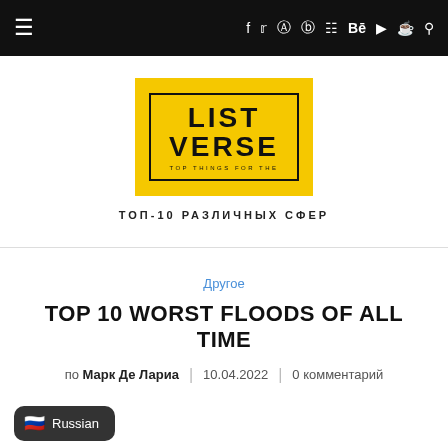≡  f  𝕥  🎵  ℗  ☆  Be  ▶  👻  🔍
[Figure (logo): Listverse logo: yellow background with black border box, text LIST VERSE, TOP THINGS FOR THE in small caps below]
ТОП-10 РАЗЛИЧНЫХ СФЕР
Другое
TOP 10 WORST FLOODS OF ALL TIME
по Марк Де Лариа  |  10.04.2022  |  0 комментарий
🇷🇺 Russian